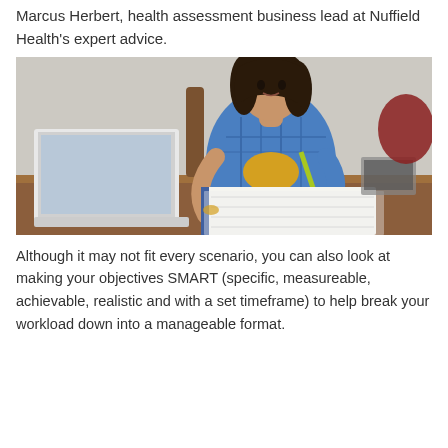Marcus Herbert, health assessment business lead at Nuffield Health's expert advice.
[Figure (photo): A young woman with long dark hair sitting at a wooden desk, writing in a notebook with a pencil, with an open laptop to her left. She is wearing a blue plaid shirt over a yellow top. Books and a calculator are visible in the background.]
Although it may not fit every scenario, you can also look at making your objectives SMART (specific, measureable, achievable, realistic and with a set timeframe) to help break your workload down into a manageable format.